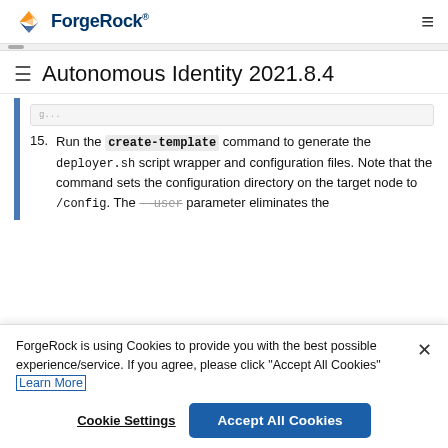ForgeRock
Autonomous Identity 2021.8.4
15. Run the create-template command to generate the deployer.sh script wrapper and configuration files. Note that the command sets the configuration directory on the target node to /config. The --user parameter eliminates the
ForgeRock is using Cookies to provide you with the best possible experience/service. If you agree, please click "Accept All Cookies" Learn More
Cookie Settings  Accept All Cookies